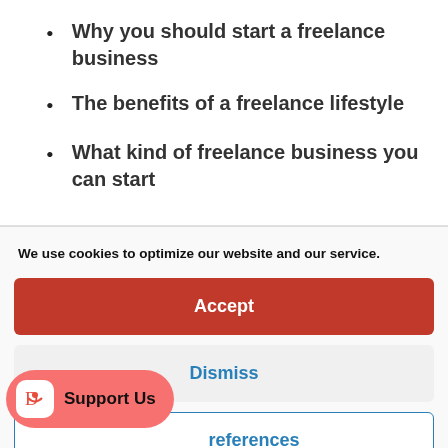Why you should start a freelance business
The benefits of a freelance lifestyle
What kind of freelance business you can start
We use cookies to optimize our website and our service.
Accept
Dismiss
references
Support Us